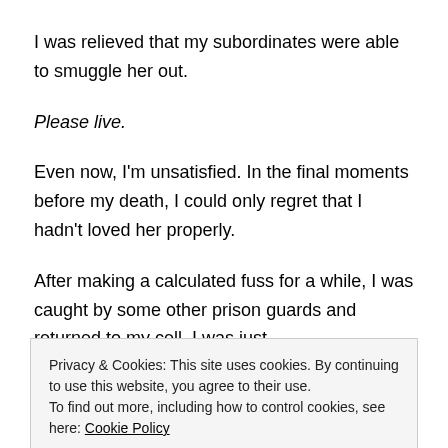I was relieved that my subordinates were able to smuggle her out.
Please live.
Even now, I'm unsatisfied. In the final moments before my death, I could only regret that I hadn't loved her properly.
After making a calculated fuss for a while, I was caught by some other prison guards and returned to my cell. I was just
Privacy & Cookies: This site uses cookies. By continuing to use this website, you agree to their use.
To find out more, including how to control cookies, see here: Cookie Policy
Close and accept